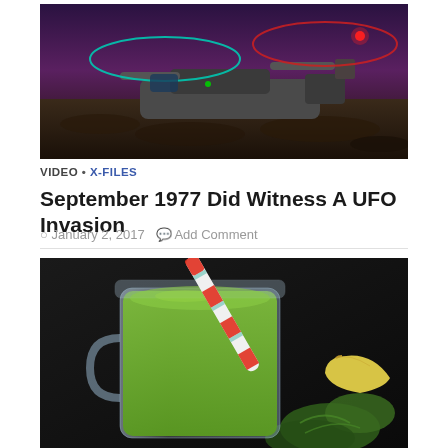[Figure (photo): A military V-22 Osprey tiltrotor aircraft on a rocky surface at night/dusk, with two large elliptical rotor rings overlaid in teal/cyan on the left and red on the right, suggesting UFO-like appearance.]
VIDEO • X-FILES
September 1977 Did Witness A UFO Invasion
January 2, 2017   Add Comment
[Figure (photo): A green smoothie in a glass mason jar with a red and white striped straw, surrounded by kale leaves and a banana on a dark background.]